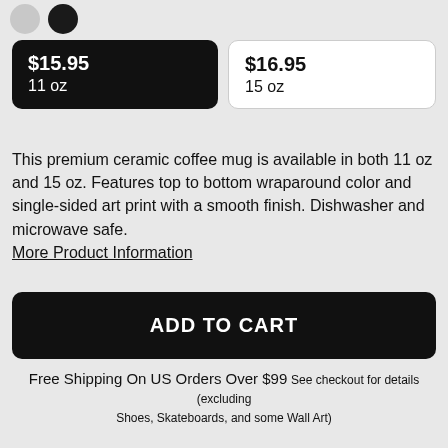[Figure (illustration): Two circular icons at the top left: one light grey circle and one dark/black circle]
| $15.95 | 11 oz | $16.95 | 15 oz |
This premium ceramic coffee mug is available in both 11 oz and 15 oz. Features top to bottom wraparound color and single-sided art print with a smooth finish. Dishwasher and microwave safe. More Product Information
ADD TO CART
Free Shipping On US Orders Over $99 See checkout for details (excluding Shoes, Skateboards, and some Wall Art)
About the Design
Shapes and colors honouring Portugal and the Portuguese tiles.
Product Information     Return Policy